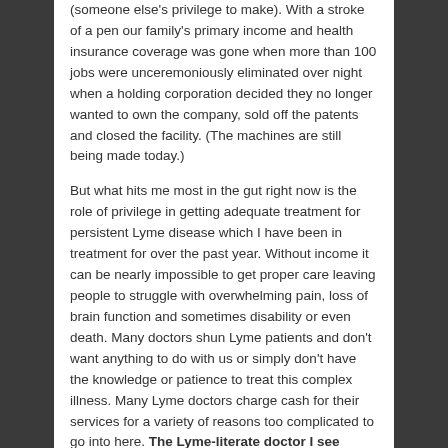(someone else's privilege to make). With a stroke of a pen our family's primary income and health insurance coverage was gone when more than 100 jobs were unceremoniously eliminated over night when a holding corporation decided they no longer wanted to own the company, sold off the patents and closed the facility. (The machines are still being made today.)
But what hits me most in the gut right now is the role of privilege in getting adequate treatment for persistent Lyme disease which I have been in treatment for over the past year. Without income it can be nearly impossible to get proper care leaving people to struggle with overwhelming pain, loss of brain function and sometimes disability or even death. Many doctors shun Lyme patients and don't want anything to do with us or simply don't have the knowledge or patience to treat this complex illness. Many Lyme doctors charge cash for their services for a variety of reasons too complicated to go into here. The Lyme-literate doctor I see charges $200/hour. I am grateful for his expertise and